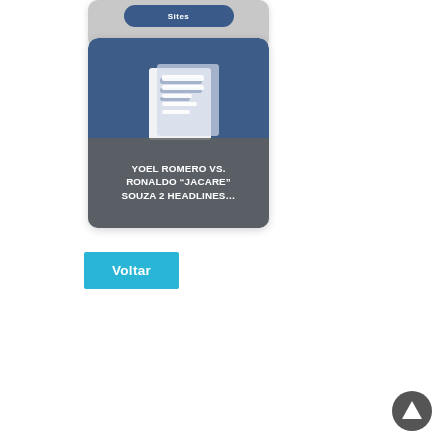[Figure (screenshot): Partial card at top showing a dark overlay with text 'Sites']
[Figure (screenshot): Card with blue news app icon and dark overlay text: YOEL ROMERO VS. RONALDO 'JACARE' SOUZA 2 HEADLINES...]
Voltar
[Figure (other): Scroll-to-top arrow button in bottom right corner]